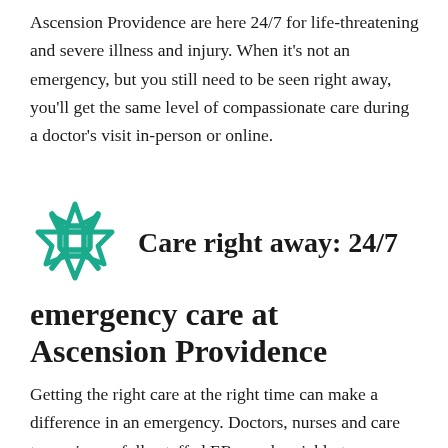Ascension Providence are here 24/7 for life-threatening and severe illness and injury. When it's not an emergency, but you still need to be seen right away, you'll get the same level of compassionate care during a doctor's visit in-person or online.
Care right away: 24/7 emergency care at Ascension Providence
Getting the right care at the right time can make a difference in an emergency. Doctors, nurses and care teams in our fully staffed ERs work quickly to understand you and deliver the care that's right for you and your family. You get